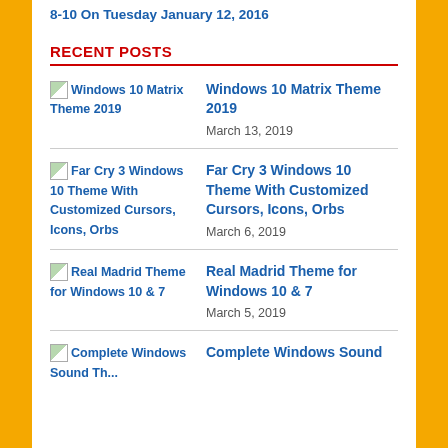8-10 On Tuesday January 12, 2016
RECENT POSTS
Windows 10 Matrix Theme 2019 | March 13, 2019
Far Cry 3 Windows 10 Theme With Customized Cursors, Icons, Orbs | March 6, 2019
Real Madrid Theme for Windows 10 & 7 | March 5, 2019
Complete Windows Sound Theme